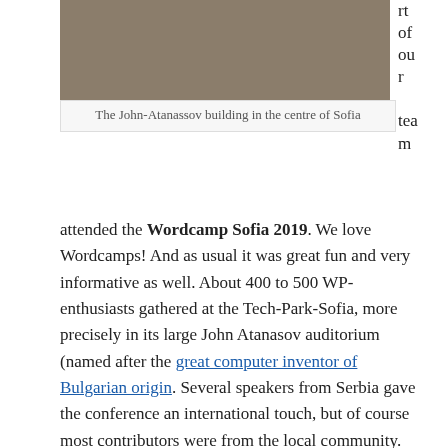[Figure (photo): Photo of the John-Atanassov building in the centre of Sofia — a brownish/tan building facade.]
The John-Atanassov building in the centre of Sofia
rt of our team
attended the Wordcamp Sofia 2019. We love Wordcamps! And as usual it was great fun and very informative as well. About 400 to 500 WP-enthusiasts gathered at the Tech-Park-Sofia, more precisely in its large John Atanasov auditorium (named after the great computer inventor of Bulgarian origin. Several speakers from Serbia gave the conference an international touch, but of course most contributors were from the local community.
The Wordcamp started on Saturday, 09.11.2019 with the Contributor Day (which we missed). Sunday, 10.11 was the main conference day and packed with